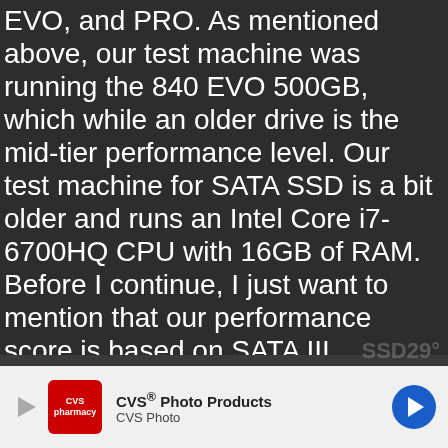EVO, and PRO. As mentioned above, our test machine was running the 840 EVO 500GB, which while an older drive is the mid-tier performance level. Our test machine for SATA SSD is a bit older and runs an Intel Core i7-6700HQ CPU with 16GB of RAM. Before I continue, I just want to mention that our performance score is based on SATA III performance, not compared to what you might get out of an NVMe SSD. Just a reminder, when running performance benchmark tests, you will get varying numbers. The numbers below are listed based on a first run test while we ran two more tests after which, generally speaking, were in line with the first run.
[Figure (other): Video placeholder with text 'No compatible source was found for this...' and SSD29 logo watermark in bottom right]
For the 840 EVO, Samsung Magician reported a...
[Figure (other): CVS Photo Products advertisement banner with CVS Pharmacy logo, play button, CVS Photo text, X close buttons, and navigation arrow icon]